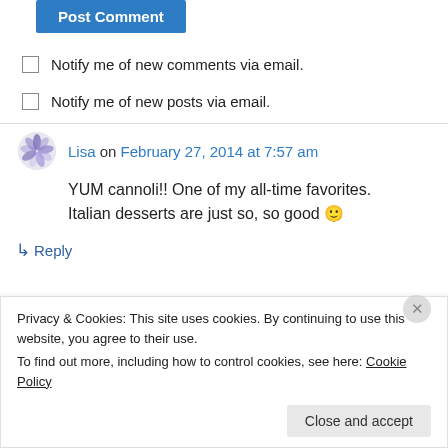[Figure (other): Blue 'Post Comment' button, partially visible at top]
Notify me of new comments via email.
Notify me of new posts via email.
Lisa on February 27, 2014 at 7:57 am
YUM cannoli!! One of my all-time favorites. Italian desserts are just so, so good 🙂
↳ Reply
Privacy & Cookies: This site uses cookies. By continuing to use this website, you agree to their use.
To find out more, including how to control cookies, see here: Cookie Policy